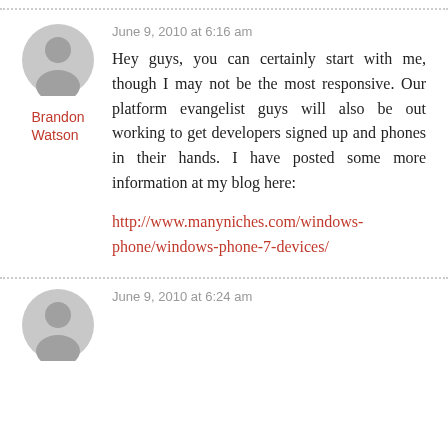June 9, 2010 at 6:16 am
[Figure (illustration): Gray circular avatar placeholder with person silhouette]
Brandon Watson
Hey guys, you can certainly start with me, though I may not be the most responsive. Our platform evangelist guys will also be out working to get developers signed up and phones in their hands. I have posted some more information at my blog here:
http://www.manyniches.com/windows-phone/windows-phone-7-devices/
June 9, 2010 at 6:24 am
[Figure (illustration): Gray circular avatar placeholder with person silhouette]